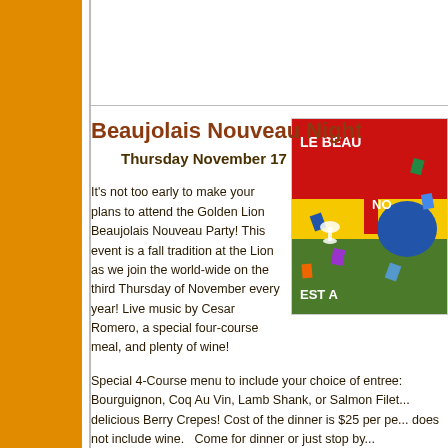Beaujolais Nouveau Night
Thursday November 17
It's not too early to make your plans to attend the Golden Lion Beaujolais Nouveau Party!  This event is a fall tradition at the Lion as we join the world-wide on the third Thursday of November every year!  Live music by Cesar Romero, a special four-course meal, and plenty of wine!
[Figure (illustration): Colorful Beaujolais Nouveau promotional poster with red, yellow, green and blue colors, showing wine bottles and glasses. Text reads 'LE BEAU...' and 'NO...' and 'EST A'.]
Special 4-Course menu to include your choice of entree: Bourguignon, Coq Au Vin, Lamb Shank, or Salmon Filet... delicious Berry Crepes!  Cost of the dinner is $25 per pe... does not include wine.   Come for dinner or just stop by...
Beaujolais Nouveau is a red wine made from Gamay gr... produced in the Beaujolais region of France.   Hand harv... whole berry fermentation create a red wine that is easy ... does not age.  So drink it while it is young on Novemb...